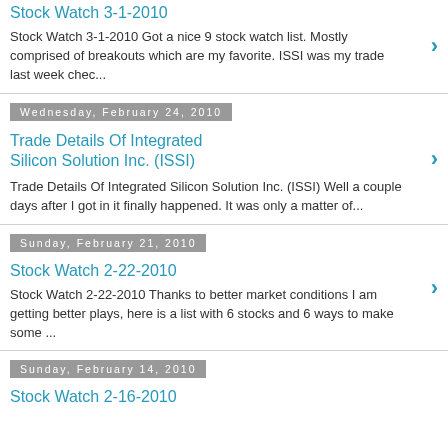Stock Watch 3-1-2010
Stock Watch 3-1-2010 Got a nice 9 stock watch list. Mostly comprised of breakouts which are my favorite. ISSI was my trade last week chec...
Wednesday, February 24, 2010
Trade Details Of Integrated Silicon Solution Inc. (ISSI)
Trade Details Of Integrated Silicon Solution Inc. (ISSI) Well a couple days after I got in it finally happened. It was only a matter of...
Sunday, February 21, 2010
Stock Watch 2-22-2010
Stock Watch 2-22-2010 Thanks to better market conditions I am getting better plays, here is a list with 6 stocks and 6 ways to make some ...
Sunday, February 14, 2010
Stock Watch 2-16-2010